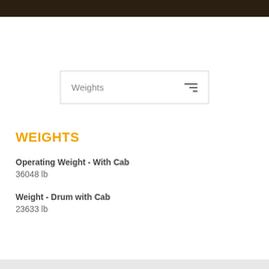[Figure (photo): Dark header image showing outdoor/terrain background]
Weights
WEIGHTS
Operating Weight - With Cab
36048 lb
Weight - Drum with Cab
23633 lb